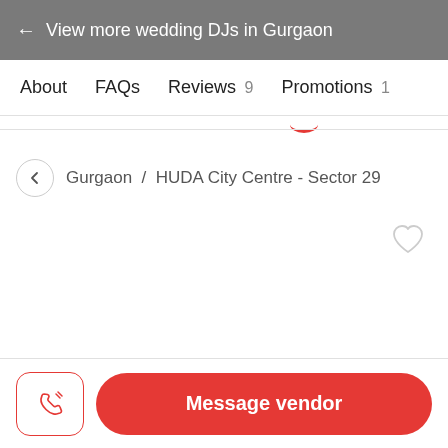← View more wedding DJs in Gurgaon
About
FAQs
Reviews 9
Promotions 1
Gurgaon / HUDA City Centre - Sector 29
Message vendor